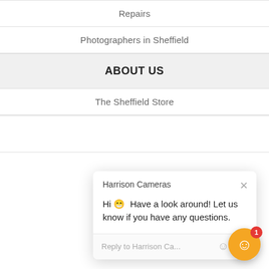Repairs
Photographers in Sheffield
ABOUT US
The Sheffield Store
[Figure (screenshot): Chat popup from Harrison Cameras with message: Hi 😀 Have a look around! Let us know if you have any questions. With a reply input field.]
Photography Gift Voucher
Blog